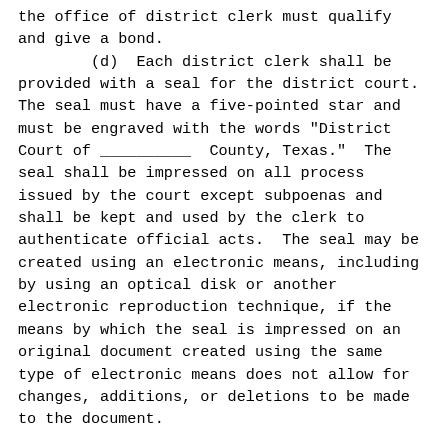the office of district clerk must qualify and give a bond.
        (d)  Each district clerk shall be provided with a seal for the district court. The seal must have a five-pointed star and must be engraved with the words "District Court of __________ County, Texas."  The seal shall be impressed on all process issued by the court except subpoenas and shall be kept and used by the clerk to authenticate official acts.  The seal may be created using an electronic means, including by using an optical disk or another electronic reproduction technique, if the means by which the seal is impressed on an original document created using the same type of electronic means does not allow for changes, additions, or deletions to be made to the document.